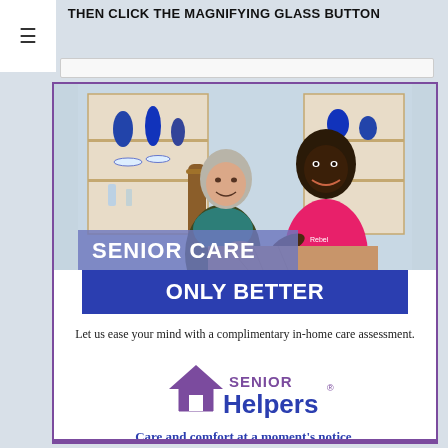THEN CLICK THE MAGNIFYING GLASS BUTTON
[Figure (screenshot): Menu icon (hamburger) and search bar UI element]
[Figure (illustration): Advertisement for Senior Helpers showing an elderly woman and a caregiver in pink shirt working together on a puzzle, with text overlays: SENIOR CARE, ONLY BETTER, Let us ease your mind with a complimentary in-home care assessment., Senior Helpers logo, Care and comfort at a moment's notice.]